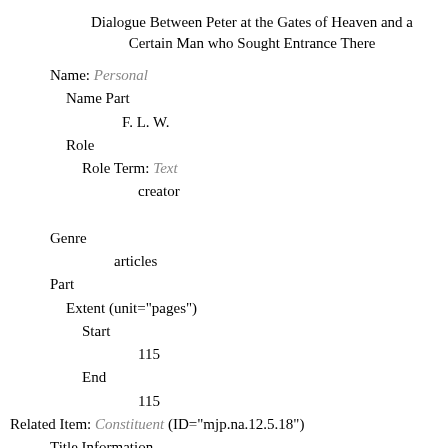Dialogue Between Peter at the Gates of Heaven and a Certain Man who Sought Entrance There
Name: Personal
  Name Part
        F. L. W.
  Role
    Role Term: Text
            creator

Genre
        articles
Part
  Extent (unit="pages")
    Start
            115
    End
            115
Related Item: Constituent (ID="mjp.na.12.5.18")
  Title Information
    Non Sort
    Title
            Specimens by a Professor of Etymology
  Name: Personal
    Name Part
            F.L. W.